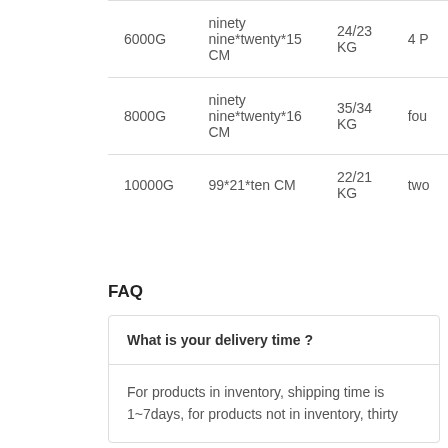| Weight | Size | KG | Qty |
| --- | --- | --- | --- |
| 6000G | ninety nine*twenty*15 CM | 24/23 KG | 4 P |
| 8000G | ninety nine*twenty*16 CM | 35/34 KG | fou |
| 10000G | 99*21*ten CM | 22/21 KG | two |
FAQ
What is your delivery time ?
For products in inventory, shipping time is 1~7days, for products not in inventory, thirty